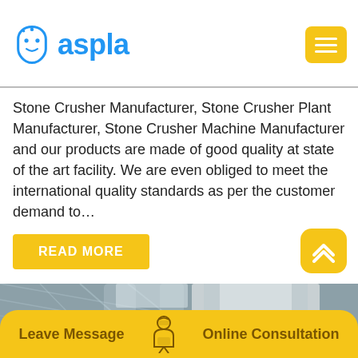[Figure (logo): Aspla company logo with blue shield icon and blue text 'aspla']
Stone Crusher Manufacturer, Stone Crusher Plant Manufacturer, Stone Crusher Machine Manufacturer and our products are made of good quality at state of the art facility. We are even obliged to meet the international quality standards as per the customer demand to…
READ MORE
[Figure (photo): Industrial stone crusher machine photographed from below inside a factory warehouse with metal roof structure visible]
Leave Message
Online Consultation